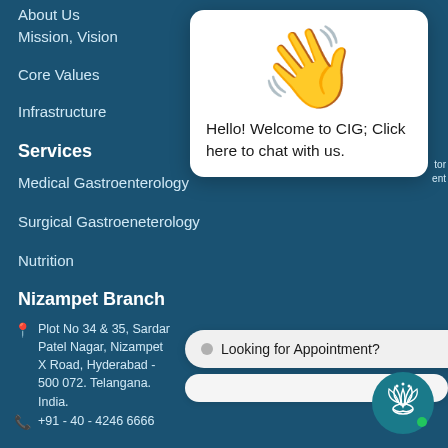About Us
Mission, Vision
Core Values
Infrastructure
Services
Medical Gastroenterology
Surgical Gastroeneterology
Nutrition
Nizampet Branch
Plot No 34 & 35, Sardar Patel Nagar, Nizampet X Road, Hyderabad - 500 072. Telangana. India.
+91 - 40 - 4246 6666
[Figure (screenshot): Chat popup with waving hand emoji and text: Hello! Welcome to CIG; Click here to chat with us.]
Looking for Appointment?
[Figure (logo): CIG lotus flower logo in white on teal circle with green dot]